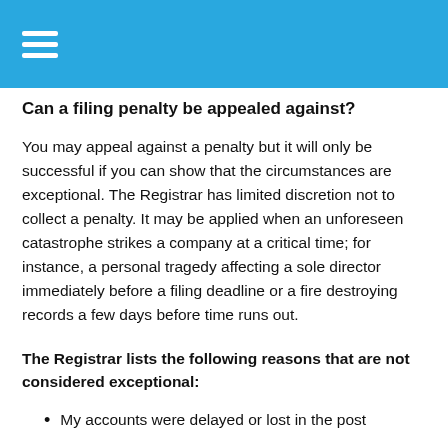Can a filing penalty be appealed against?
You may appeal against a penalty but it will only be successful if you can show that the circumstances are exceptional. The Registrar has limited discretion not to collect a penalty. It may be applied when an unforeseen catastrophe strikes a company at a critical time; for instance, a personal tragedy affecting a sole director immediately before a filing deadline or a fire destroying records a few days before time runs out.
The Registrar lists the following reasons that are not considered exceptional:
My accounts were delayed or lost in the post